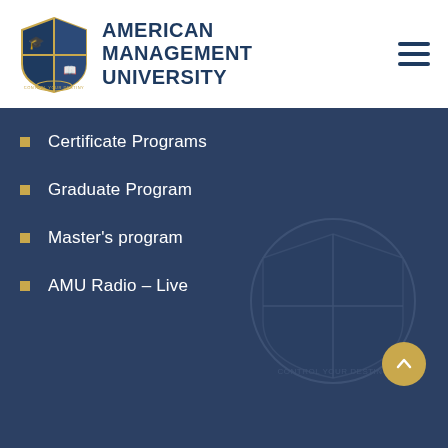[Figure (logo): American Management University shield logo with graduation cap and book, gold and navy colors, 'CONTROL YOUR DESTINY' text at bottom]
AMERICAN MANAGEMENT UNIVERSITY
Certificate Programs
Graduate Program
Master's program
AMU Radio – Live
[Figure (logo): Watermark/background circular AMU shield logo in dark navy, semi-transparent]
Admission • News • Contact Us
Copyright 2022 American Management University. All Rights